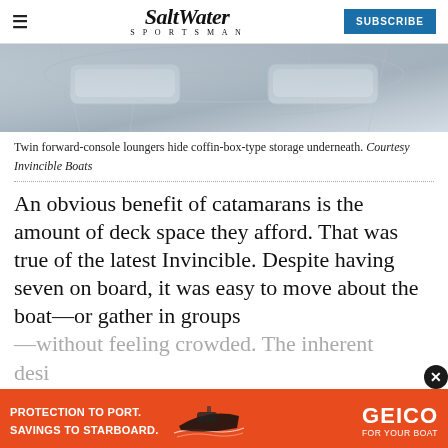Salt Water Sportsman — SUBSCRIBE
[Figure (photo): Interior view of twin forward-console loungers on a catamaran boat, showing white gelcoat surfaces and storage areas.]
Twin forward-console loungers hide coffin-box-type storage underneath. Courtesy Invincible Boats
An obvious benefit of catamarans is the amount of deck space they afford. That was true of the latest Invincible. Despite having seven on board, it was easy to move about the boat—or gather in groups —without feeling crowded. The inherent desi...forward, where a large, cushioned...
[Figure (advertisement): GEICO boat insurance advertisement with orange background. Text: PROTECTION TO PORT. SAVINGS TO STARBOARD. GEICO FOR YOUR BOAT.]